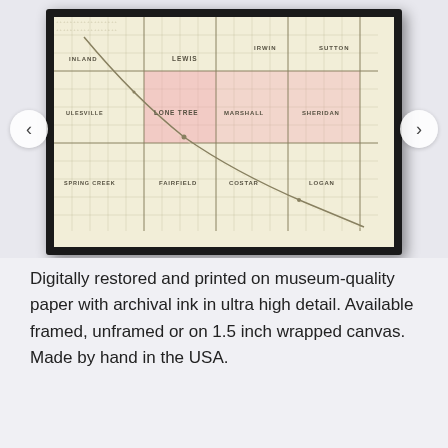[Figure (photo): A framed antique map print showing a township grid map with sections labeled LONE TREE, MARSHALL, SHERIDAN, ULESVILLE, FAIRFIELD, SPRING CREEK, COSTAR, LOGAN, and other township names. The map has a cream/beige background with pink highlighted sections, a diagonal railroad or road line, and a black wooden frame. Navigation arrows (< and >) appear on the left and right sides of the image viewer.]
Digitally restored and printed on museum-quality paper with archival ink in ultra high detail. Available framed, unframed or on 1.5 inch wrapped canvas. Made by hand in the USA.